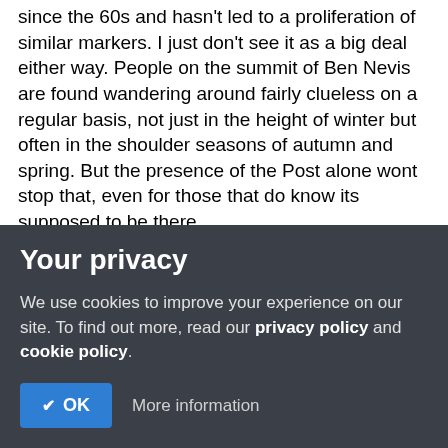since the 60s and hasn't led to a proliferation of similar markers. I just don't see it as a big deal either way. People on the summit of Ben Nevis are found wandering around fairly clueless on a regular basis, not just in the height of winter but often in the shoulder seasons of autumn and spring. But the presence of the Post alone wont stop that, even for those that do know its supposed to be there.
To the second... this did make me a little more annoyed but other than putting it back if possible and waiting for the outcome of the consultation I don't think there is anything to be done. If one or two climbers are selfish enough and
Your privacy
We use cookies to improve your experience on our site. To find out more, read our privacy policy and cookie policy.